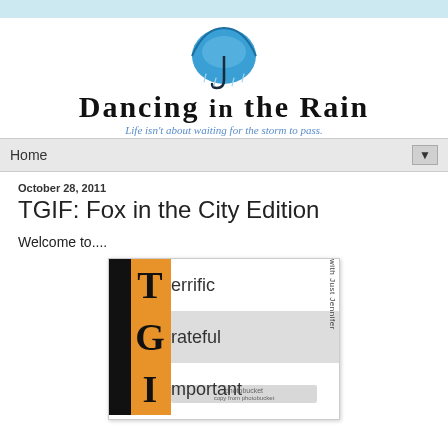[Figure (logo): Dancing in the Rain blog logo with blue umbrella graphic above bold serif title text 'Dancing in the Rain' and italic blue subtitle 'Life isn't about waiting for the storm to pass']
Home
October 28, 2011
TGIF: Fox in the City Edition
Welcome to....
[Figure (illustration): TGIF acrostic image showing T=Terrific, G=Grateful, I=Important (partially visible), with orange accent color on left side of each letter, 'with Just Jennifer' text rotated vertically on right side, photobucket watermark visible]